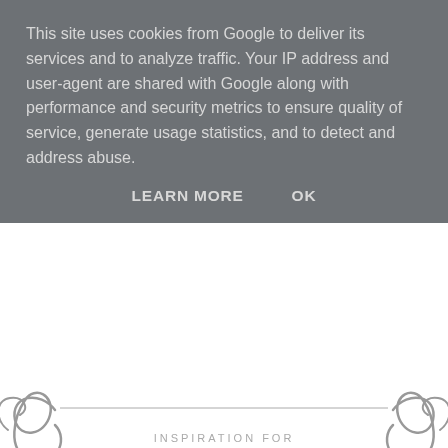This site uses cookies from Google to deliver its services and to analyze traffic. Your IP address and user-agent are shared with Google along with performance and security metrics to ensure quality of service, generate usage statistics, and to detect and address abuse.
LEARN MORE   OK
[Figure (illustration): Decorative swirl/scroll ornament banner with text 'INSPIRATION FOR BRITISH BRIDES & GROOMS']
Showing posts with label France.   Show all posts
Friday, 29 May 2015
My Secret Garden Wedding in a Provence Chateau - The Reception
Our wedding reception passed in a flash! I think every bride and groom feels that their big day